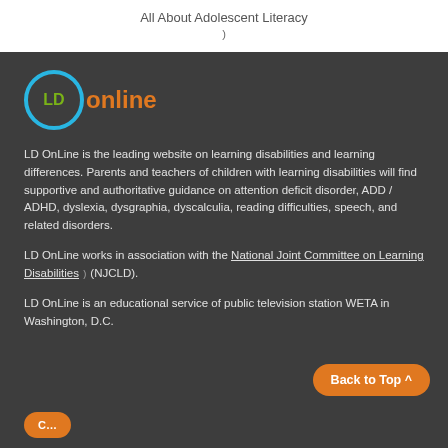All About Adolescent Literacy
[Figure (logo): LD OnLine logo with blue circle, green 'LD' text, and orange 'online' text]
LD OnLine is the leading website on learning disabilities and learning differences. Parents and teachers of children with learning disabilities will find supportive and authoritative guidance on attention deficit disorder, ADD / ADHD, dyslexia, dysgraphia, dyscalculia, reading difficulties, speech, and related disorders.
LD OnLine works in association with the National Joint Committee on Learning Disabilities (NJCLD).
LD OnLine is an educational service of public television station WETA in Washington, D.C.